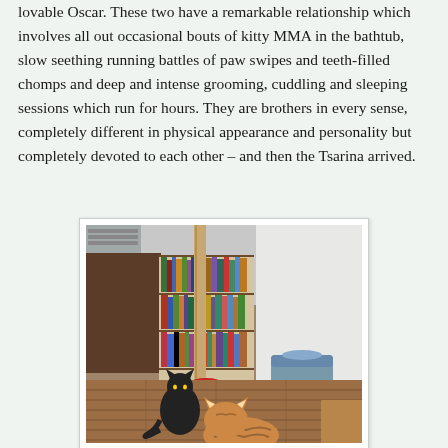lovable Oscar. These two have a remarkable relationship which involves all out occasional bouts of kitty MMA in the bathtub, slow seething running battles of paw swipes and teeth-filled chomps and deep and intense grooming, cuddling and sleeping sessions which run for hours. They are brothers in every sense, completely different in physical appearance and personality but completely devoted to each other – and then the Tsarina arrived.
[Figure (photo): Two cats in a room with hardwood floors. A black cat sits near a wooden pole in the middle background, facing away. An orange/tabby cat is in the foreground facing the black cat. Behind them is a large bookshelf filled with colorful books, and a grey hooded litter box on the right side.]